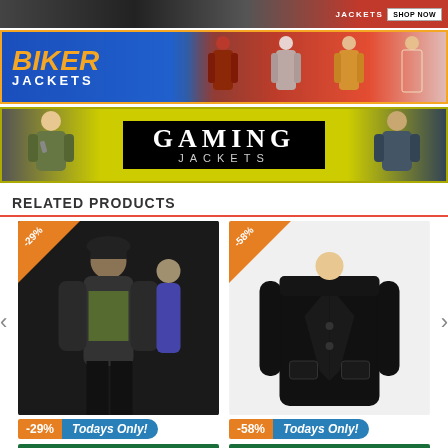[Figure (photo): Top banner with jackets advertisement and SHOP NOW button]
[Figure (photo): Biker Jackets promotional banner with orange text and jacket images]
[Figure (photo): Gaming Jackets promotional banner with yellow background and black center panel]
RELATED PRODUCTS
[Figure (photo): Product photo of man wearing black leather biker jacket with -29% discount badge]
-29% Todays Only!
Halloween Deals: Today Only
[Figure (photo): Product photo of black leather coat on white background with -58% discount badge]
-58% Todays Only!
Halloween Deals: Today Only